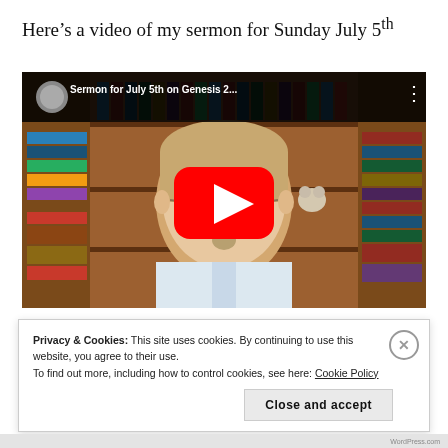Here’s a video of my sermon for Sunday July 5th
[Figure (screenshot): YouTube video thumbnail showing a man smiling in front of bookshelves, with a large red YouTube play button overlay. The video header reads 'Sermon for July 5th on Genesis 2...']
Privacy & Cookies: This site uses cookies. By continuing to use this website, you agree to their use.
To find out more, including how to control cookies, see here: Cookie Policy
Close and accept